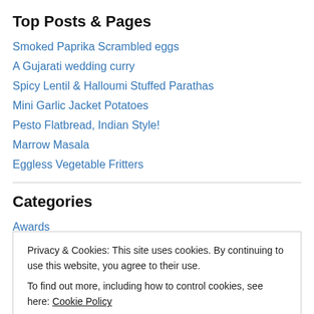Top Posts & Pages
Smoked Paprika Scrambled eggs
A Gujarati wedding curry
Spicy Lentil & Halloumi Stuffed Parathas
Mini Garlic Jacket Potatoes
Pesto Flatbread, Indian Style!
Marrow Masala
Eggless Vegetable Fritters
Categories
Awards
Privacy & Cookies: This site uses cookies. By continuing to use this website, you agree to their use. To find out more, including how to control cookies, see here: Cookie Policy
Biscuits & Cookies